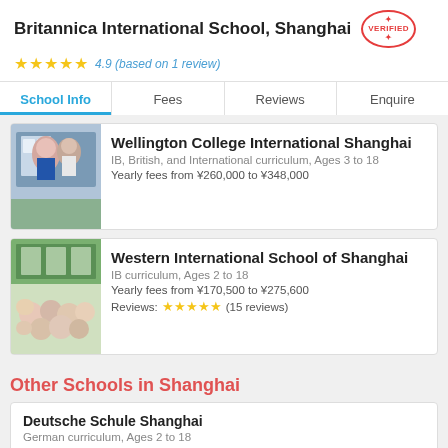Britannica International School, Shanghai
[Figure (infographic): VERIFIED badge stamp in red/pink circular seal]
4.9 (based on 1 review)
School Info | Fees | Reviews | Enquire
Wellington College International Shanghai — IB, British, and International curriculum, Ages 3 to 18. Yearly fees from ¥260,000 to ¥348,000
Western International School of Shanghai — IB curriculum, Ages 2 to 18. Yearly fees from ¥170,500 to ¥275,600. Reviews: (15 reviews)
Other Schools in Shanghai
Deutsche Schule Shanghai — German curriculum, Ages 2 to 18